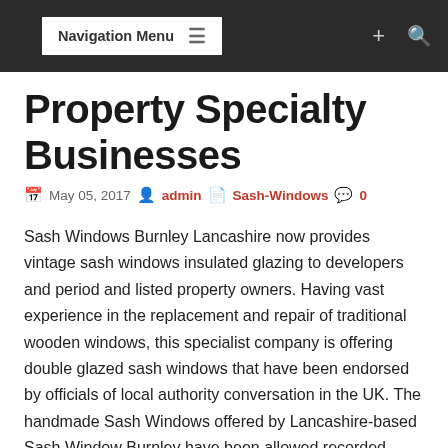Navigation Menu
Property Specialty Businesses
May 05, 2017  admin  Sash-Windows  0
Sash Windows Burnley Lancashire now provides vintage sash windows insulated glazing to developers and period and listed property owners. Having vast experience in the replacement and repair of traditional wooden windows, this specialist company is offering double glazed sash windows that have been endorsed by officials of local authority conversation in the UK. The handmade Sash Windows offered by Lancashire-based Sash Window Burnley have been allowed recorded building assent, where the current windows